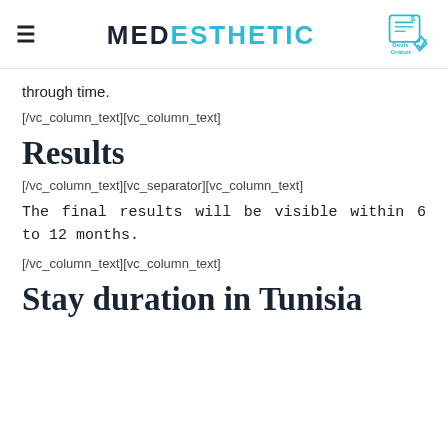MEDESTHETIC
through time.
[/vc_column_text][vc_column_text]
Results
[/vc_column_text][vc_separator][vc_column_text]
The final results will be visible within 6 to 12 months.
[/vc_column_text][vc_column_text]
Stay duration in Tunisia